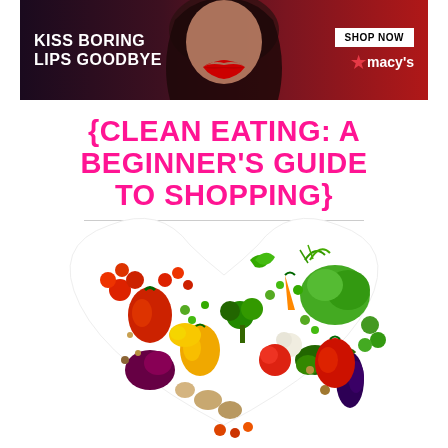[Figure (photo): Advertisement banner for Macy's lipstick featuring a woman's face with red lips, text 'KISS BORING LIPS GOODBYE' on left and 'SHOP NOW' button with Macy's star logo on right, dark red/maroon gradient background.]
{CLEAN EATING: A BEGINNER'S GUIDE TO SHOPPING}
[Figure (photo): Heart shape composed of various colorful vegetables and fruits including red peppers, yellow peppers, tomatoes, lettuce, carrots, broccoli, eggplant, garlic, mushrooms, and other produce arranged on a white background.]